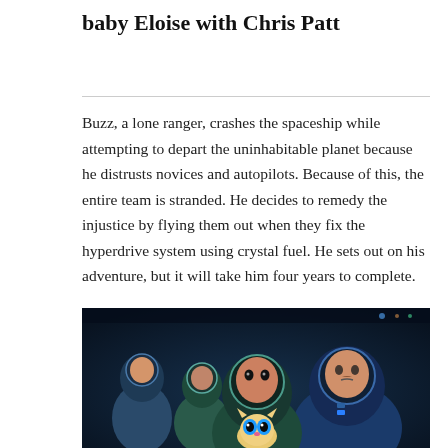baby Eloise with Chris Patt
Buzz, a lone ranger, crashes the spaceship while attempting to depart the uninhabitable planet because he distrusts novices and autopilots. Because of this, the entire team is stranded. He decides to remedy the injustice by flying them out when they fix the hyperdrive system using crystal fuel. He sets out on his adventure, but it will take him four years to complete.
[Figure (photo): Animated characters from Lightyear movie — Buzz Lightyear and teammates in space suits inside a spacecraft, with a robotic cat in the foreground.]